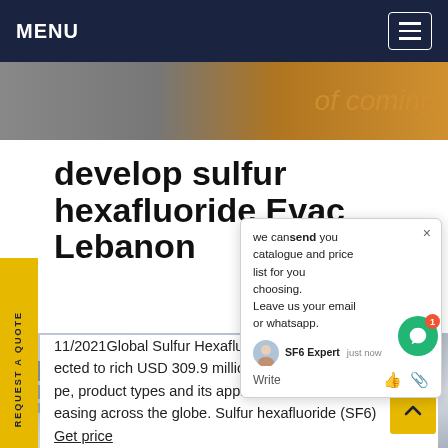MENU
[Figure (photo): Hero image strip with text 'of coming' in italic orange/yellow on dark background]
develop sulfur hexafluoride Evac Lebanon
11/2021Global Sulfur Hexafluoride ected to rich USD 309.9 millio pe, product types and its applica easing across the globe. Sulfur hexafluoride (SF6) Get price
[Figure (screenshot): Chat popup: 'we can send you catalogue and price list for you choosing. Leave us your email or whatsapp.' SF6 Expert just now. Write row with thumbs up and paperclip icons. Green chat bubble icon with badge 1.]
[Figure (photo): Bottom photo of industrial pipes and white cylindrical structures, gray background]